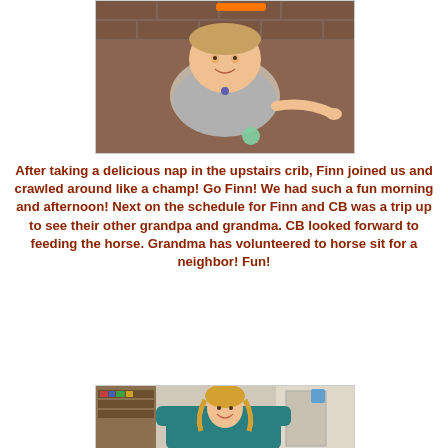[Figure (photo): A toddler in a gray shirt crawling on a brick floor, smiling at the camera, reaching toward the viewer with one hand, with a small toy visible nearby.]
After taking a delicious nap in the upstairs crib, Finn joined us and crawled around like a champ! Go Finn! We had such a fun morning and afternoon! Next on the schedule for Finn and CB was a trip up to see their other grandpa and grandma. CB looked forward to feeding the horse. Grandma has volunteered to horse sit for a neighbor! Fun!
[Figure (photo): A young girl with blonde hair sitting in a teal armchair, smiling, with bookshelves and a kitchen visible in the background.]